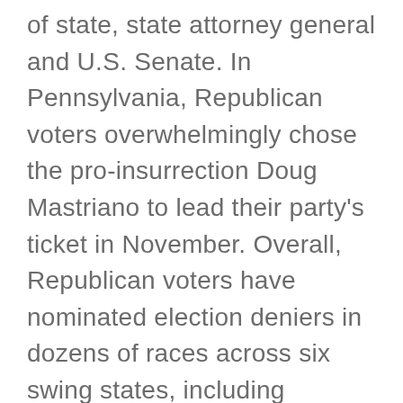of state, state attorney general and U.S. Senate. In Pennsylvania, Republican voters overwhelmingly chose the pro-insurrection Doug Mastriano to lead their party's ticket in November. Overall, Republican voters have nominated election deniers in dozens of races across six swing states, including candidates for top offices in Georgia, Nevada and Wisconsin.There is also something to learn from the much-obsessed-over fate of Liz Cheney, the arch-conservative representative from Wyoming, who lost her place on the Republican ticket on account of her opposition to the movement to “stop the steal” and her leadership on the House Jan. 6 committee